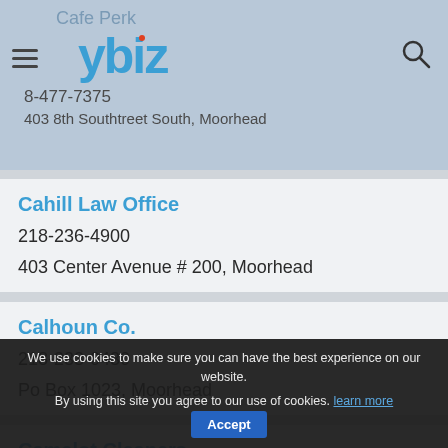Cafe Perk
8-477-7375
403 8th Southtreet South, Moorhead
ybiz
Cahill Law Office
218-236-4900
403 Center Avenue # 200, Moorhead
Calhoun Co.
218-233-0430
Po Box 1023, Moorhead
Camelot Cleaners
218-233-2652
625 Main Avenue, Moorhead
We use cookies to make sure you can have the best experience on our website. By using this site you agree to our use of cookies. learn more  Accept